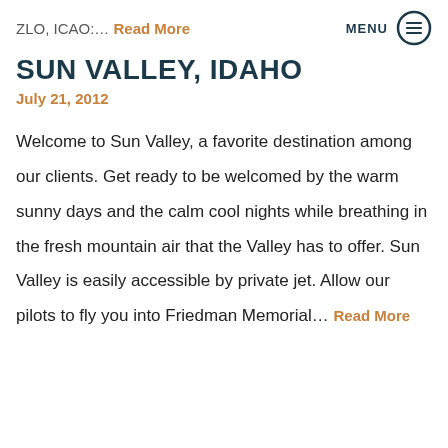ZLO, ICAO:… Read More
SUN VALLEY, IDAHO
July 21, 2012
Welcome to Sun Valley, a favorite destination among our clients. Get ready to be welcomed by the warm sunny days and the calm cool nights while breathing in the fresh mountain air that the Valley has to offer. Sun Valley is easily accessible by private jet. Allow our pilots to fly you into Friedman Memorial… Read More